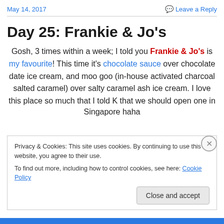May 14, 2017 | Leave a Reply
Day 25: Frankie & Jo's
Gosh, 3 times within a week; I told you Frankie & Jo's is my favourite! This time it's chocolate sauce over chocolate date ice cream, and moo goo (in-house activated charcoal salted caramel) over salty caramel ash ice cream. I love this place so much that I told K that we should open one in Singapore haha
Privacy & Cookies: This site uses cookies. By continuing to use this website, you agree to their use.
To find out more, including how to control cookies, see here: Cookie Policy
Close and accept